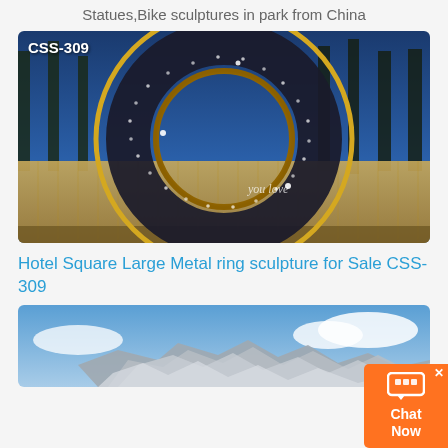Statues,Bike sculptures in park from China
[Figure (photo): Night photograph of a large polished metal ring sculpture with dot-perforated surface and golden reflective inner edge, with cursive text 'you love' on it, displayed in a park setting with tall palm trees and illuminated stone wall background. SKU label CSS-309 shown in top-left corner.]
Hotel Square Large Metal ring sculpture for Sale CSS-309
[Figure (photo): Partial view of a large metallic sculpture made of irregular polished fragments against a blue sky with clouds.]